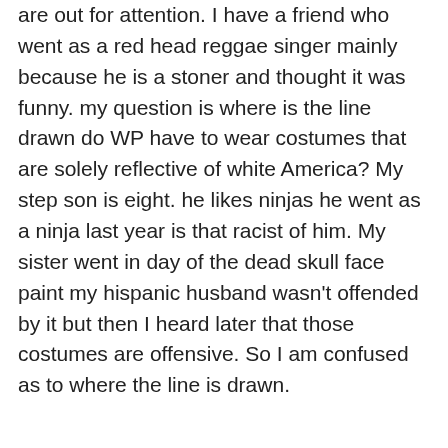are out for attention. I have a friend who went as a red head reggae singer mainly because he is a stoner and thought it was funny. my question is where is the line drawn do WP have to wear costumes that are solely reflective of white America? My step son is eight. he likes ninjas he went as a ninja last year is that racist of him. My sister went in day of the dead skull face paint my hispanic husband wasn't offended by it but then I heard later that those costumes are offensive. So I am confused as to where the line is drawn.
★ Like
Ebonymonroe on Fri Nov 1st 2013 at 21:25:03
I'm pretty reasonable, and laid back on this. Just